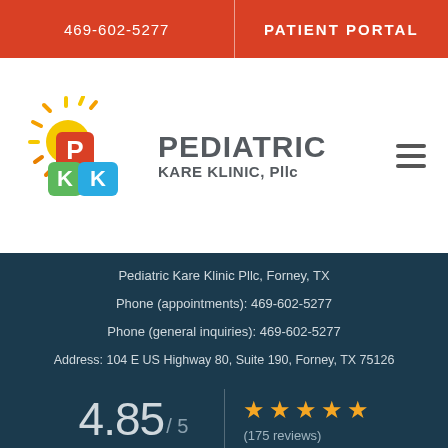469-602-5277 | PATIENT PORTAL
[Figure (logo): Pediatric Kare Klinic Pllc logo with colorful building blocks and sun graphic. Text reads PEDIATRIC KARE KLINIC, Pllc]
Pediatric Kare Klinic Pllc, Forney, TX
Phone (appointments): 469-602-5277
Phone (general inquiries): 469-602-5277
Address: 104 E US Highway 80, Suite 190, Forney, TX 75126
4.85 / 5 ★★★★★ (175 reviews)